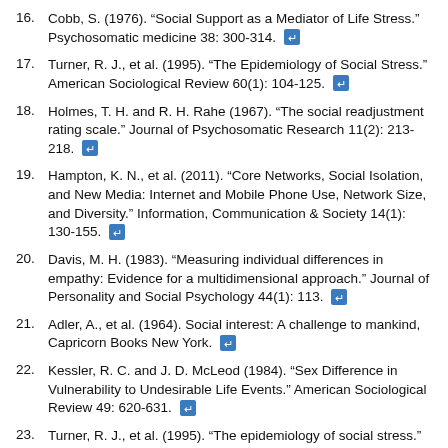16. Cobb, S. (1976). “Social Support as a Mediator of Life Stress.” Psychosomatic medicine 38: 300-314.
17. Turner, R. J., et al. (1995). “The Epidemiology of Social Stress.” American Sociological Review 60(1): 104-125.
18. Holmes, T. H. and R. H. Rahe (1967). “The social readjustment rating scale.” Journal of Psychosomatic Research 11(2): 213-218.
19. Hampton, K. N., et al. (2011). “Core Networks, Social Isolation, and New Media: Internet and Mobile Phone Use, Network Size, and Diversity.” Information, Communication & Society 14(1): 130-155.
20. Davis, M. H. (1983). “Measuring individual differences in empathy: Evidence for a multidimensional approach.” Journal of Personality and Social Psychology 44(1): 113.
21. Adler, A., et al. (1964). Social interest: A challenge to mankind, Capricorn Books New York.
22. Kessler, R. C. and J. D. McLeod (1984). “Sex Difference in Vulnerability to Undesirable Life Events.” American Sociological Review 49: 620-631.
23. Turner, R. J., et al. (1995). “The epidemiology of social stress.” American Sociological Review 60: 104-125. The battery of questions covered events that were likely to be relatively common and those that are rare